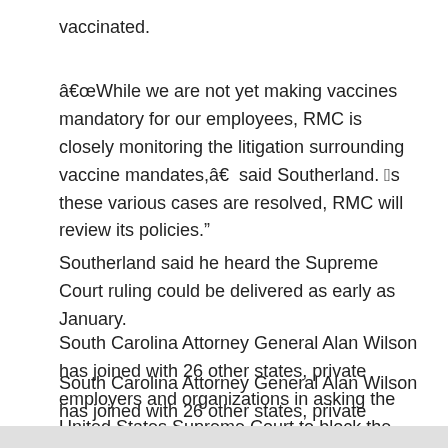vaccinated.
â€œWhile we are not yet making vaccines mandatory for our employees, RMC is closely monitoring the litigation surrounding vaccine mandates,â€  said Southerland. “As these various cases are resolved, RMC will review its policies.”
Southerland said he heard the Supreme Court ruling could be delivered as early as January.
South Carolina Attorney General Alan Wilson has joined with 26 other states, private employers and organizations in asking the United States Supreme Court to block the federal COVID-19 vaccine and weekly testing warrants.
US courts have rendered various decisions on the federal vaccine mandate.